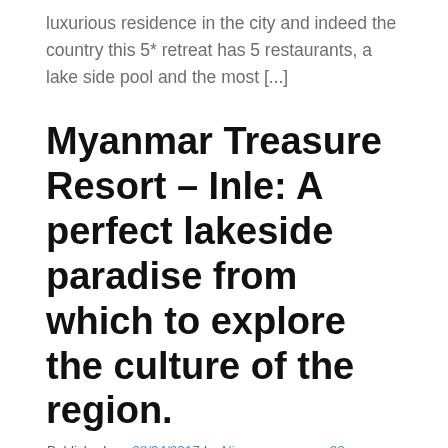luxurious residence in the city and indeed the country this 5* retreat has 5 restaurants, a lake side pool and the most [...]
Myanmar Treasure Resort – Inle: A perfect lakeside paradise from which to explore the culture of the region.
Published on: 28/04/2017 by Nic Hilditch-Short     23 Comments
After 3 days trekking through mountains, villages and rice fields for over 60km, sleeping on the floors of bamboo houses and showering in a bucket in what turned out to be one of the most rewarding and